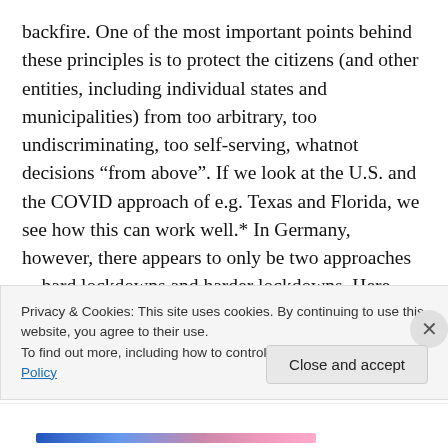backfire. One of the most important points behind these principles is to protect the citizens (and other entities, including individual states and municipalities) from too arbitrary, too undiscriminating, too self-serving, whatnot decisions “from above”. If we look at the U.S. and the COVID approach of e.g. Texas and Florida, we see how this can work well.* In Germany, however, there appears to only be two approaches—hard lockdowns and harder lockdowns. Here subsidiarity does not serve to protect the citizens from the federation but to screw them over even
Privacy & Cookies: This site uses cookies. By continuing to use this website, you agree to their use.
To find out more, including how to control cookies, see here: Cookie Policy
Close and accept